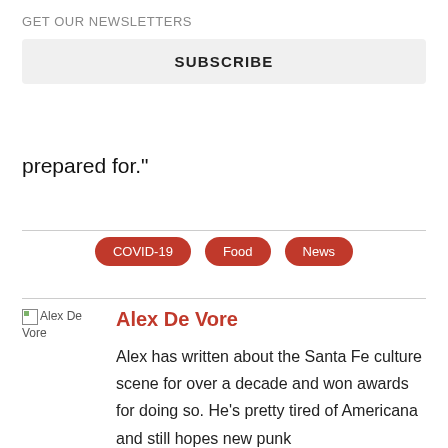GET OUR NEWSLETTERS
SUBSCRIBE
×
prepared for."
COVID-19
Food
News
[Figure (photo): Author photo placeholder for Alex De Vore]
Alex De Vore
Alex has written about the Santa Fe culture scene for over a decade and won awards for doing so. He's pretty tired of Americana and still hopes new punk